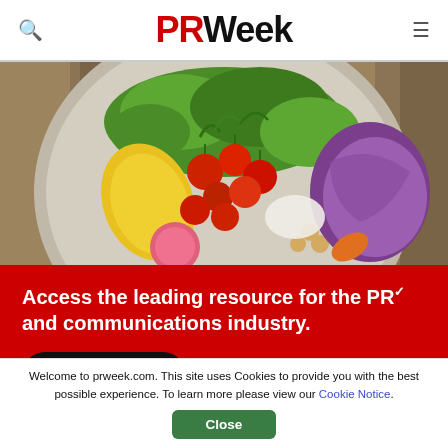PR Week (logo with search and menu icons)
[Figure (photo): Overhead photo of a plate with fresh salad vegetables including cherry tomatoes, lettuce, yellow pepper, purple cabbage, chickpeas, and other vegetables on a wooden surface]
Access the leading resource for the PR and communications industry.
Join Free
Welcome to prweek.com. This site uses Cookies to provide you with the best possible experience. To learn more please view our Cookie Notice.
Close